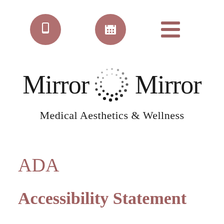[Figure (logo): Navigation icons: phone icon in mauve circle, calendar icon in mauve circle, hamburger menu icon]
[Figure (logo): Mirror Mirror Medical Aesthetics & Wellness logo with decorative dot-circle emblem between the two words Mirror]
ADA
Accessibility Statement